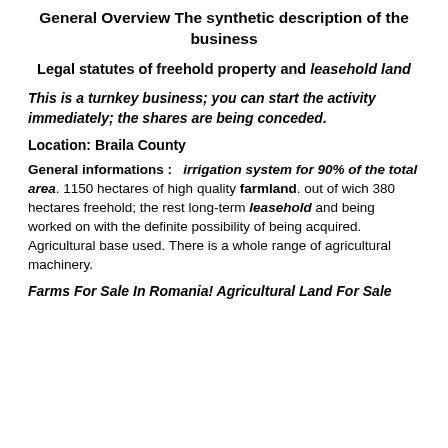General Overview The synthetic description of the business
Legal statutes of freehold property and leasehold land
This is a turnkey business; you can start the activity immediately; the shares are being conceded.
Location: Braila County
General informations :   irrigation system for 90% of the total area. 1150 hectares of high quality farmland. out of wich 380 hectares freehold; the rest long-term leasehold and being worked on with the definite possibility of being acquired. Agricultural base used. There is a whole range of agricultural machinery.
Farms For Sale In Romania! Agricultural Land For Sale